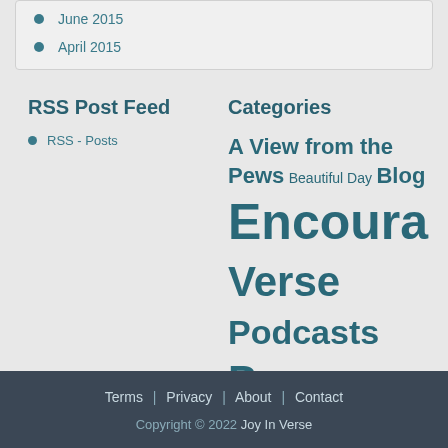June 2015
April 2015
RSS Post Feed
RSS - Posts
Categories
A View from the Pews Beautiful Day Blog Encouragement Verse Podcasts Prayer Uncategorized
Terms | Privacy | About | Contact
Copyright © 2022 Joy In Verse